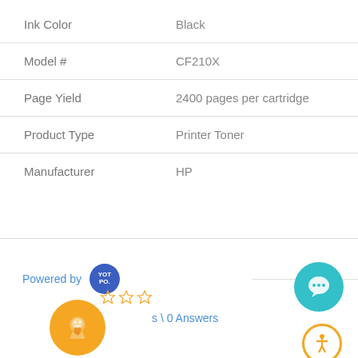| Attribute | Value |
| --- | --- |
| Ink Color | Black |
| Model # | CF210X |
| Page Yield | 2400 pages per cartridge |
| Product Type | Printer Toner |
| Manufacturer | HP |
Powered by YOTPO
[Figure (other): Star rating icons (partially filled)]
0 Answers
[Figure (other): Orange genie lamp icon button]
[Figure (other): Teal chat bubble icon button]
[Figure (other): Accessibility icon button with orange border]